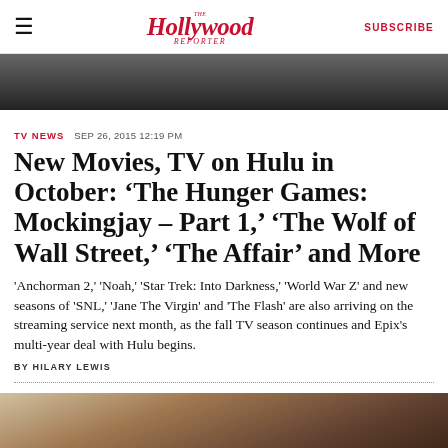The Hollywood Reporter | SUBSCRIBE
[Figure (photo): Top cropped photo, dark background, editorial image]
TV NEWS  SEP 26, 2015 12:19 PM
New Movies, TV on Hulu in October: ‘The Hunger Games: Mockingjay – Part 1,’ ‘The Wolf of Wall Street,’ ‘The Affair’ and More
‘Anchorman 2,’ ‘Noah,’ ‘Star Trek: Into Darkness,’ ‘World War Z’ and new seasons of ‘SNL,’ ‘Jane The Virgin’ and ‘The Flash’ are also arriving on the streaming service next month, as the fall TV season continues and Epix’s multi-year deal with Hulu begins.
BY HILARY LEWIS
[Figure (photo): Bottom editorial photo showing people outdoors, partially cropped]